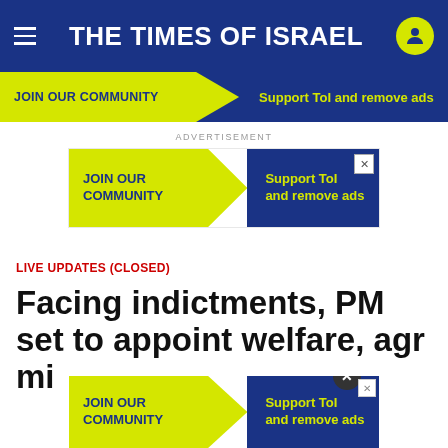THE TIMES OF ISRAEL
JOIN OUR COMMUNITY  Support ToI and remove ads
ADVERTISEMENT
[Figure (other): Advertisement banner: JOIN OUR COMMUNITY / Support ToI and remove ads]
LIVE UPDATES (CLOSED)
Facing indictments, PM set to appoint welfare, agr... mi...
[Figure (other): Bottom overlay advertisement: JOIN OUR COMMUNITY / Support ToI and remove ads]